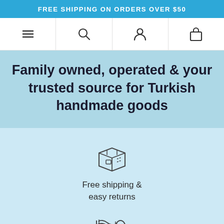FREE SHIPPING ON ORDERS OVER $50
[Figure (screenshot): Navigation bar with hamburger menu, search, user account, and shopping bag icons]
Family owned, operated & your trusted source for Turkish handmade goods
[Figure (illustration): Box/package shipping icon]
Free shipping & easy returns
[Figure (illustration): Rolled textile/fabric icon]
One of a kind handmade Turkish products